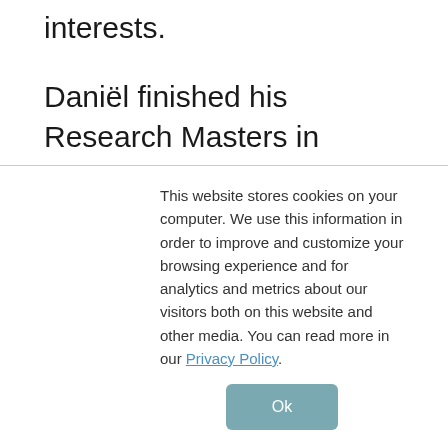interests.
Daniël finished his Research Masters in Computing Science last year. He studies Programming Language Technology, a track about language theory like lambda calculus, type theory, proofing systems, and advanced functional programming. He's very interested in Machine Learning, Languages, and Computer Science research in general. His master's thesis was about automatic plagiarism detection for source code using ML techniques.
This website stores cookies on your computer. We use this information in order to improve and customize your browsing experience and for analytics and metrics about our visitors both on this website and other media. You can read more in our Privacy Policy.